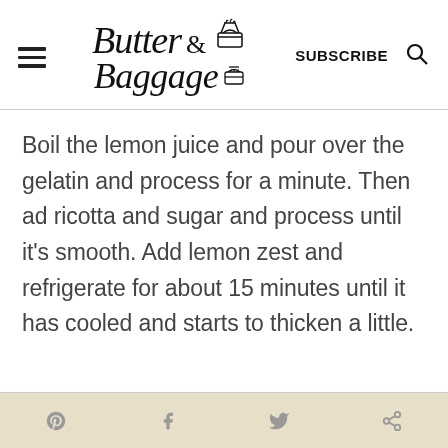Butter & Baggage — SUBSCRIBE
Boil the lemon juice and pour over the gelatin and process for a minute. Then ad ricotta and sugar and process until it's smooth. Add lemon zest and refrigerate for about 15 minutes until it has cooled and starts to thicken a little.
Social share icons: Pinterest, Facebook, Twitter, Email